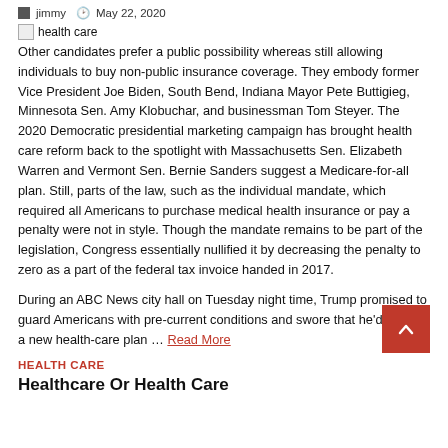jimmy  May 22, 2020
[Figure (illustration): Broken image icon followed by text 'health care']
Other candidates prefer a public possibility whereas still allowing individuals to buy non-public insurance coverage. They embody former Vice President Joe Biden, South Bend, Indiana Mayor Pete Buttigieg, Minnesota Sen. Amy Klobuchar, and businessman Tom Steyer. The 2020 Democratic presidential marketing campaign has brought health care reform back to the spotlight with Massachusetts Sen. Elizabeth Warren and Vermont Sen. Bernie Sanders suggest a Medicare-for-all plan. Still, parts of the law, such as the individual mandate, which required all Americans to purchase medical health insurance or pay a penalty were not in style. Though the mandate remains to be part of the legislation, Congress essentially nullified it by decreasing the penalty to zero as a part of the federal tax invoice handed in 2017.
During an ABC News city hall on Tuesday night time, Trump promised to guard Americans with pre-current conditions and swore that he'd release a new health-care plan … Read More
[Figure (illustration): Red back-to-top button with upward chevron arrow]
HEALTH CARE
Healthcare Or Health Care